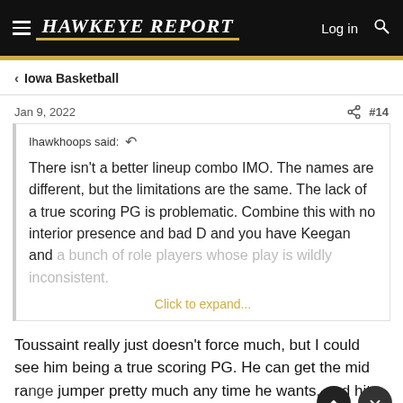Hawkeye Report — Log in
< Iowa Basketball
Jan 9, 2022  #14
Ihawkhoops said: ↩ There isn't a better lineup combo IMO. The names are different, but the limitations are the same. The lack of a true scoring PG is problematic. Combine this with no interior presence and bad D and you have Keegan and a bunch of role players whose play is wildly inconsistent.
Click to expand...
Toussaint really just doesn't force much, but I could see him being a true scoring PG. He can get the mid range jumper pretty much any time he wants, and hits it at a high